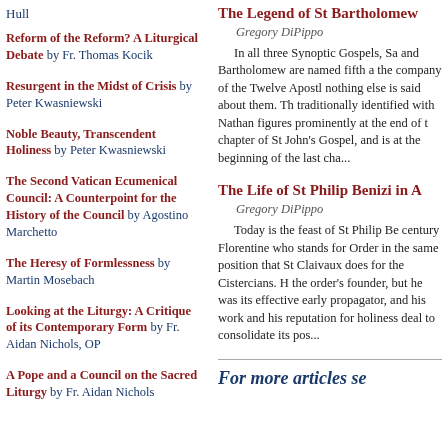Hull
Reform of the Reform? A Liturgical Debate by Fr. Thomas Kocik
Resurgent in the Midst of Crisis by Peter Kwasniewski
Noble Beauty, Transcendent Holiness by Peter Kwasniewski
The Second Vatican Ecumenical Council: A Counterpoint for the History of the Council by Agostino Marchetto
The Heresy of Formlessness by Martin Mosebach
Looking at the Liturgy: A Critique of its Contemporary Form by Fr. Aidan Nichols, OP
A Pope and a Council on the Sacred Liturgy by Fr. Aidan Nichols
The Legend of St Bartholomew
Gregory DiPippo
In all three Synoptic Gospels, Sa and Bartholomew are named fifth a the company of the Twelve Apostl nothing else is said about them. Th traditionally identified with Nathan figures prominently at the end of t chapter of St John's Gospel, and is at the beginning of the last cha...
The Life of St Philip Benizi in A
Gregory DiPippo
Today is the feast of St Philip Be century Florentine who stands for Order in the same position that St Claivaux does for the Cistercians. H the order's founder, but he was its effective early propagator, and his work and his reputation for holiness deal to consolidate its pos...
For more articles se